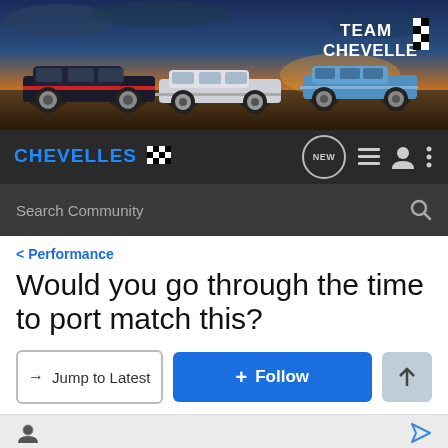[Figure (screenshot): Team Chevelle banner with three classic Chevelle cars on a dramatic sky background, with 'TEAM CHEVELLE' text and checkered flag logos in top right]
CHEVELLES [checkered flag] | NEW | menu icon | user icon | more icon
Search Community
< Performance
Would you go through the time to port match this?
→ Jump to Latest | + Follow
Hey everyone! Enter your ride HERE to be a part